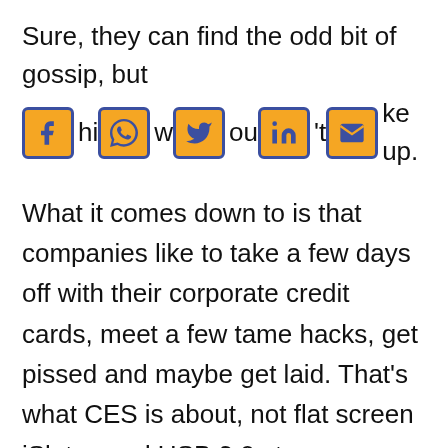Sure, they can find the odd bit of gossip, but [social icons] this wouldn't make up.
What it comes down to is that companies like to take a few days off with their corporate credit cards, meet a few tame hacks, get pissed and maybe get laid. That's what CES is about, not flat screen iSlates and USB 3.0 storage solutions.
Those of us who've been around the block more than once know that it's as easy to get pissed and laid at home as in Vegas, considerably cheaper and with the added